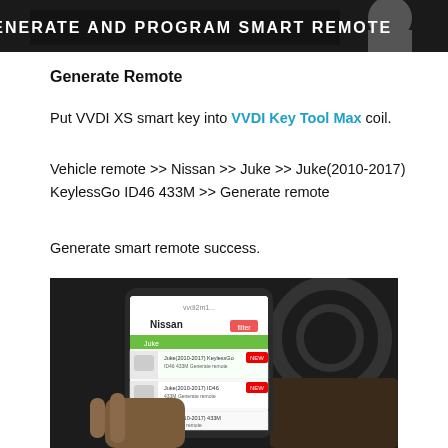[Figure (photo): Screenshot banner with text 'GENERATE AND PROGRAM SMART REMOTE' on dark background with a person's image]
Generate Remote
Put VVDI XS smart key into VVDI Key Tool Max coil.
Vehicle remote >> Nissan >> Juke >> Juke(2010-2017) KeylessGo ID46 433M >> Generate remote
Generate smart remote success.
[Figure (photo): Photo of a hand holding a smartphone displaying the VVDI app with Nissan vehicle remote options including Juke models listed]